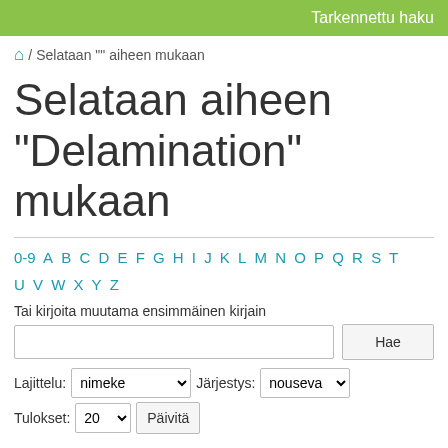Tarkennettu haku
/ Selataan "" aiheen mukaan
Selataan aiheen "Delamination" mukaan
0-9 A B C D E F G H I J K L M N O P Q R S T U V W X Y Z
Tai kirjoita muutama ensimmäinen kirjain
Hae
Lajittelu: nimeke   Järjestys: nouseva
Tulokset: 20   Päivitä